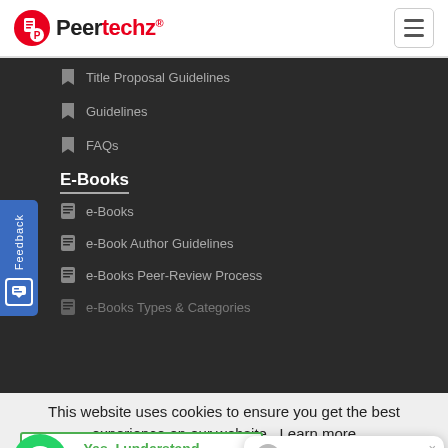Peertechz
Title Proposal Guidelines
Guidelines
FAQs
E-Books
e-Books
e-Book Author Guidelines
e-Books Peer-Review Process
e-Books Types & Categories
This website uses cookies to ensure you get the best experience on our website.  Learn more
Yes, I understand
Maha Donepudi
Hello! ? Type your question here. We would be happy to help you!